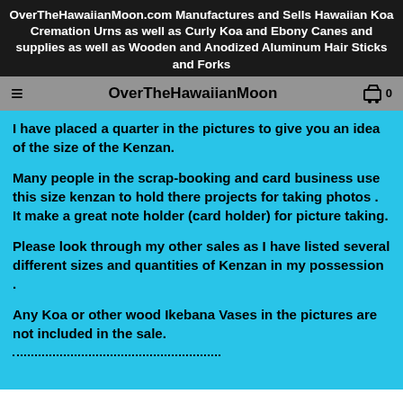OverTheHawaiianMoon.com Manufactures and Sells Hawaiian Koa Cremation Urns as well as Curly Koa and Ebony Canes and supplies as well as Wooden and Anodized Aluminum Hair Sticks and Forks
OverTheHawaiianMoon
I have placed a quarter in the pictures to give you an idea of the size of the Kenzan.
Many people in the scrap-booking and card business use this size kenzan to hold there projects for taking photos . It make a great note holder (card holder) for picture taking.
Please look through my other sales as I have listed several different sizes and quantities of Kenzan in my possession .
Any Koa or other wood Ikebana Vases in the pictures are not included in the sale.